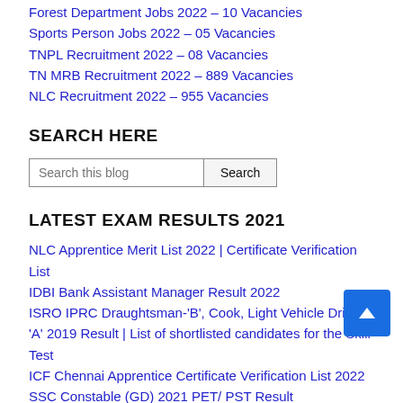Forest Department Jobs 2022 – 10 Vacancies
Sports Person Jobs 2022 – 05 Vacancies
TNPL Recruitment 2022 – 08 Vacancies
TN MRB Recruitment 2022 – 889 Vacancies
NLC Recruitment 2022 – 955 Vacancies
SEARCH HERE
LATEST EXAM RESULTS 2021
NLC Apprentice Merit List 2022 | Certificate Verification List
IDBI Bank Assistant Manager Result 2022
ISRO IPRC Draughtsman-'B', Cook, Light Vehicle Driver- 'A' 2019 Result | List of shortlisted candidates for the Skill Test
ICF Chennai Apprentice Certificate Verification List 2022
SSC Constable (GD) 2021 PET/ PST Result
More Post »
LATEST EXAM ADMIT CARD 2021